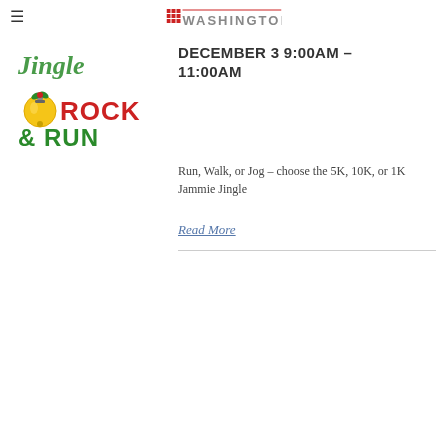≡  RUN WASHINGTON
[Figure (logo): Jingle Rock & Run event logo with holiday bells and Christmas colors (red and green text)]
DECEMBER 3 9:00AM – 11:00AM
Run, Walk, or Jog – choose the 5K, 10K, or 1K Jammie Jingle
Read More